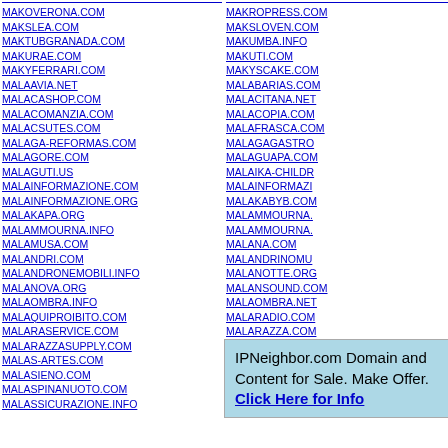MAKOVERONA.COM
MAKSLEA.COM
MAKTUBGRANADA.COM
MAKURAE.COM
MAKYFERRARI.COM
MALAAVIA.NET
MALACASHOP.COM
MALACOMANZIA.COM
MALACSUTES.COM
MALAGA-REFORMAS.COM
MALAGORE.COM
MALAGUTI.US
MALAINFORMAZIONE.COM
MALAINFORMAZIONE.ORG
MALAKAPA.ORG
MALAMMOURNA.INFO
MALAMUSA.COM
MALANDRI.COM
MALANDRONEMOBILI.INFO
MALANOVA.ORG
MALAOMBRA.INFO
MALAQUIPROIBITO.COM
MALARASERVICE.COM
MALARAZZASUPPLY.COM
MALAS-ARTES.COM
MALASIENO.COM
MALASPINANUOTO.COM
MALASSICURAZIONE.INFO
MAKROPRESS.COM
MAKSLOVEN.COM
MAKUMBA.INFO
MAKUTI.COM
MAKYSCAKE.COM
MALABARIAS.COM
MALACITANA.NET
MALACOPIA.COM
MALAFRASCA.COM
MALAGAGASTRO
MALAGUAPA.COM
MALAIKA-CHILDR
MALAINFORMAZI
MALAKABYB.COM
MALAMMOURNA.
MALAMMOURNA.
MALANA.COM
MALANDRINOMU
MALANOTTE.ORG
MALANSOUND.COM
MALAOMBRA.NET
MALARADIO.COM
MALARAZZA.COM
IPNeighbor.com Domain and Content for Sale. Make Offer. Click Here for Info